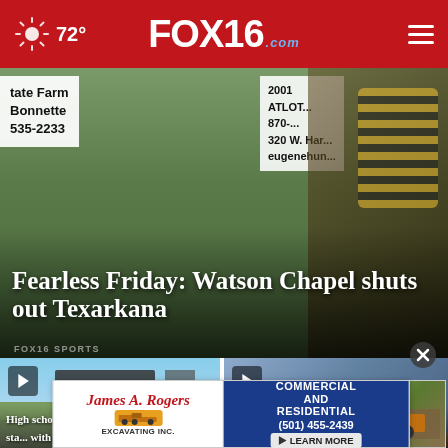FOX16.com — 72° weather header
[Figure (screenshot): Hero image showing State Farm sign, person in background, with overlaid text 'Fearless Friday: Watson Chapel shuts out Texarkana']
Fearless Friday: Watson Chapel shuts out Texarkana
[Figure (screenshot): Video thumbnail of high school football stadium with play button]
High school foo... sta... (truncated)
[Figure (screenshot): Video thumbnail of vehicle/car door with play button, title starting 'Young Pi...' and 'hopes to make']
[Figure (infographic): Advertisement banner for James A. Rogers Excavating Inc. with phone number (501) 455-2439 and Learn More button]